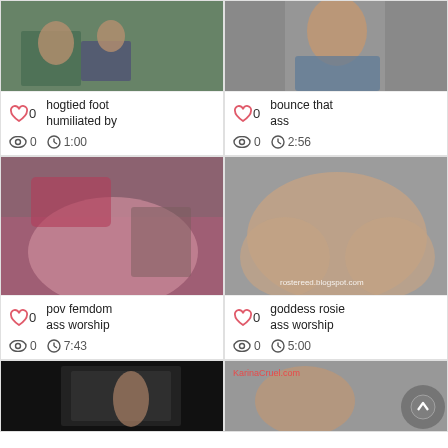[Figure (screenshot): Video thumbnail showing two people at a table]
hogtied foot humiliated by
0 views  1:00
[Figure (screenshot): Video thumbnail showing person in underwear from behind]
bounce that ass
0 views  2:56
[Figure (screenshot): Video thumbnail showing woman in pink and black lingerie from behind]
pov femdom ass worship
0 views  7:43
[Figure (screenshot): Video thumbnail with watermark rostereed.blogspot.com]
goddess rosie ass worship
0 views  5:00
[Figure (screenshot): Video thumbnail dark with person in store]
[Figure (screenshot): Video thumbnail with KarinaCruel.com watermark]